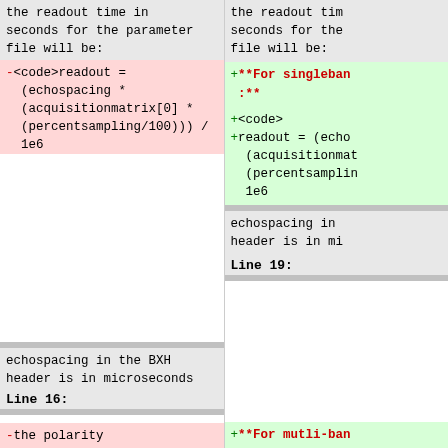the readout time in seconds for the parameter file will be:
the readout time in seconds for the file will be:
-<code>readout = (echospacing * (acquisitionmatrix[0] * (percentsampling/100))) / 1e6
+**For singleban :**** ... +<code> +readout = (echospacing * (acquisitionmatrix * (percentsamplin / 1e6
echospacing in the BXH header is in microseconds
echospacing in header is in mi
Line 16:
Line 19:
-the polarity
+**For mutli-ban